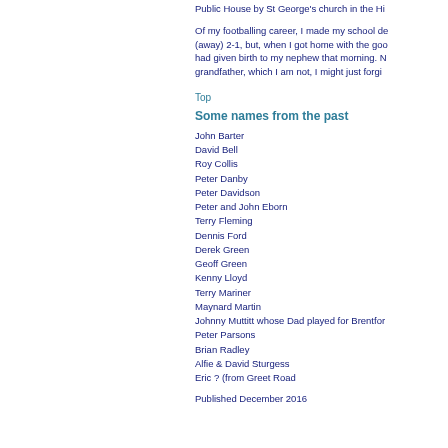Public House by St George's church in the Hi
Of my footballing career, I made my school de (away) 2-1, but, when I got home with the goo had given birth to my nephew that morning. N grandfather, which I am not, I might just forgi
Top
Some names from the past
John Barter
David Bell
Roy Collis
Peter Danby
Peter Davidson
Peter and John Eborn
Terry Fleming
Dennis Ford
Derek Green
Geoff Green
Kenny Lloyd
Terry Mariner
Maynard Martin
Johnny Muttitt whose Dad played for Brentfor
Peter Parsons
Brian Radley
Alfie & David Sturgess
Eric ? (from Greet Road
Published December 2016